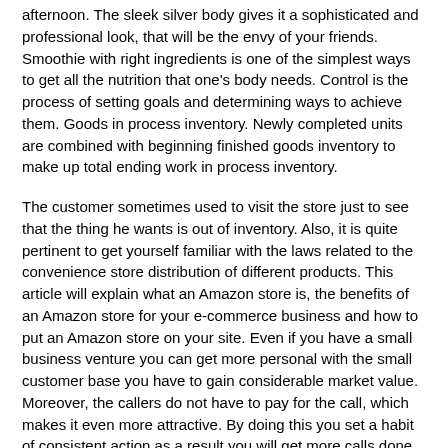afternoon. The sleek silver body gives it a sophisticated and professional look, that will be the envy of your friends. Smoothie with right ingredients is one of the simplest ways to get all the nutrition that one's body needs. Control is the process of setting goals and determining ways to achieve them. Goods in process inventory. Newly completed units are combined with beginning finished goods inventory to make up total ending work in process inventory.
The customer sometimes used to visit the store just to see that the thing he wants is out of inventory. Also, it is quite pertinent to get yourself familiar with the laws related to the convenience store distribution of different products. This article will explain what an Amazon store is, the benefits of an Amazon store for your e-commerce business and how to put an Amazon store on your site. Even if you have a small business venture you can get more personal with the small customer base you have to gain considerable market value. Moreover, the callers do not have to pay for the call, which makes it even more attractive. By doing this you set a habit of consistent action as a result you will get more calls done. Both financial and managerial accounting rely on accepted principles that are enforced through an extensive set of rules and guidelines. Managerial accounting system differ across companies depending on the nature of the business and the arrangement of its internal operations. First,